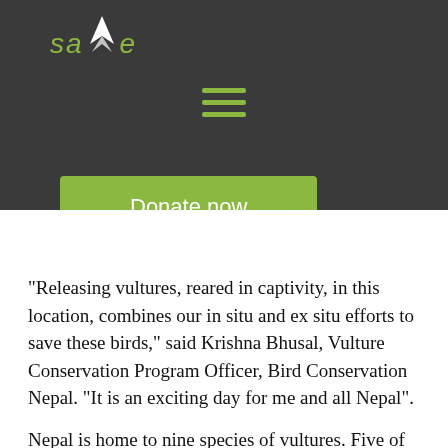[Figure (logo): SAVE organization logo with a bird graphic in white and green italic text]
[Figure (other): Hamburger menu icon with three horizontal green lines]
[Figure (other): Green 'Donate now' button]
"Releasing vultures, reared in captivity, in this location, combines our in situ and ex situ efforts to save these birds," said Krishna Bhusal, Vulture Conservation Program Officer, Bird Conservation Nepal. "It is an exciting day for me and all Nepal".
Nepal is home to nine species of vultures. Five of these species, including the white-rumped vulture, underwent catastrophic population declines of greater than 90% in the mid-1990s to